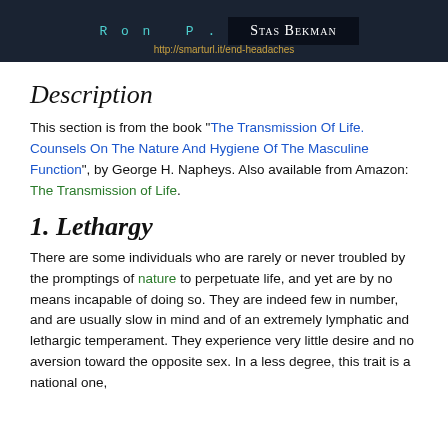[Figure (other): Book banner with dark background showing author names 'Ron P.' in teal and 'Stas Bekman' in white, and URL http://smarturl.it/end-headaches]
Description
This section is from the book "The Transmission Of Life. Counsels On The Nature And Hygiene Of The Masculine Function", by George H. Napheys. Also available from Amazon: The Transmission of Life.
1. Lethargy
There are some individuals who are rarely or never troubled by the promptings of nature to perpetuate life, and yet are by no means incapable of doing so. They are indeed few in number, and are usually slow in mind and of an extremely lymphatic and lethargic temperament. They experience very little desire and no aversion toward the opposite sex. In a less degree, this trait is a national one,